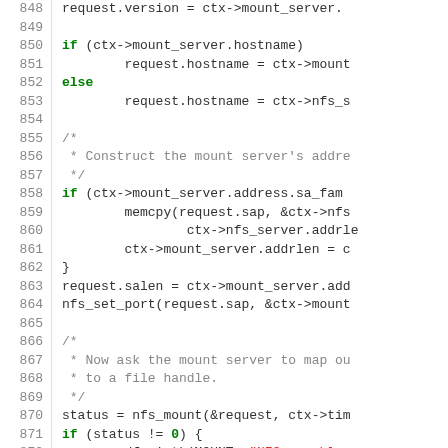[Figure (screenshot): Source code listing showing C code lines 848–874, with line numbers on the left and syntax-highlighted code on the right. Keywords like 'if', 'else', 'return' are bold green; string literals are red; comments are gray.]